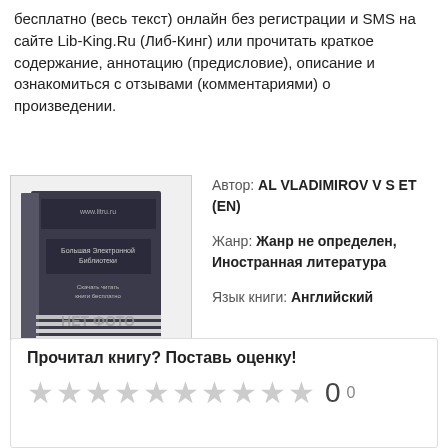бесплатно (весь текст) онлайн без регистрации и SMS на сайте Lib-King.Ru (Либ-Кинг) или прочитать краткое содержание, аннотацию (предисловие), описание и ознакомиться с отзывами (комментариями) о произведении.
[Figure (illustration): Book cover placeholder image with text 'НЕТ ФОТО' (No Photo)]
Автор: AL VLADIMIROV V S ET (EN)
Жанр: Жанр не определен, Иностранная литература
Язык книги: Английский
Прочитал книгу? Поставь оценку! ★★★★★★★★★★ 0  0